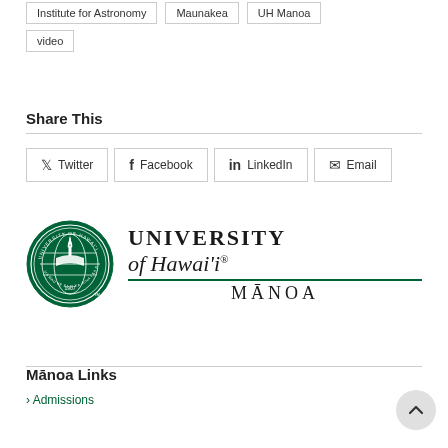Institute for Astronomy
Maunakea
UH Manoa
video
Share This
Twitter | Facebook | LinkedIn | Email
[Figure (logo): University of Hawai'i at Manoa official logo with circular green seal on left and text 'University of Hawai'i MANOA' on right]
Manoa Links
> Admissions